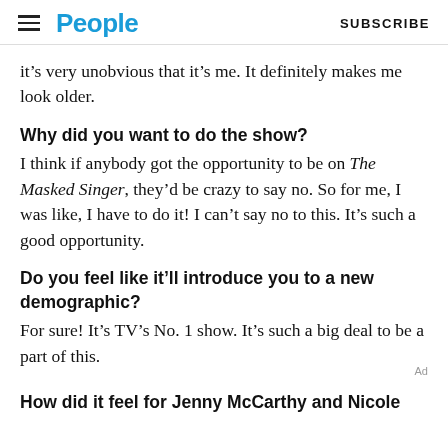People  SUBSCRIBE
it’s very unobvious that it’s me. It definitely makes me look older.
Why did you want to do the show?
I think if anybody got the opportunity to be on The Masked Singer, they’d be crazy to say no. So for me, I was like, I have to do it! I can’t say no to this. It’s such a good opportunity.
Do you feel like it’ll introduce you to a new demographic?
For sure! It’s TV’s No. 1 show. It’s such a big deal to be a part of this.
How did it feel for Jenny McCarthy and Nicole